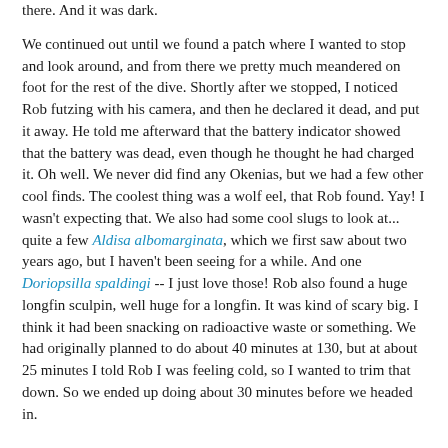there. And it was dark.
We continued out until we found a patch where I wanted to stop and look around, and from there we pretty much meandered on foot for the rest of the dive. Shortly after we stopped, I noticed Rob futzing with his camera, and then he declared it dead, and put it away. He told me afterward that the battery indicator showed that the battery was dead, even though he thought he had charged it. Oh well. We never did find any Okenias, but we had a few other cool finds. The coolest thing was a wolf eel, that Rob found. Yay! I wasn't expecting that. We also had some cool slugs to look at... quite a few Aldisa albomarginata, which we first saw about two years ago, but I haven't been seeing for a while. And one Doriopsilla spaldingi -- I just love those! Rob also found a huge longfin sculpin, well huge for a longfin. It was kind of scary big. I think it had been snacking on radioactive waste or something. We had originally planned to do about 40 minutes at 130, but at about 25 minutes I told Rob I was feeling cold, so I wanted to trim that down. So we ended up doing about 30 minutes before we headed in.